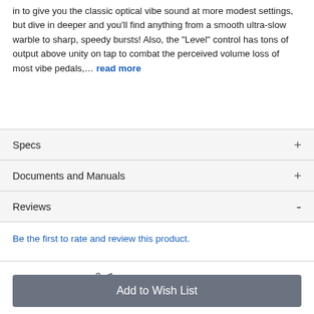in to give you the classic optical vibe sound at more modest settings, but dive in deeper and you'll find anything from a smooth ultra-slow warble to sharp, speedy bursts! Also, the "Level" control has tons of output above unity on tap to combat the perceived volume loss of most vibe pedals,... read more
Specs +
Documents and Manuals +
Reviews -
Be the first to rate and review this product.
[Figure (logo): EarthQuaker Devices logo with stylized text and small figure illustration]
Add to Wish List